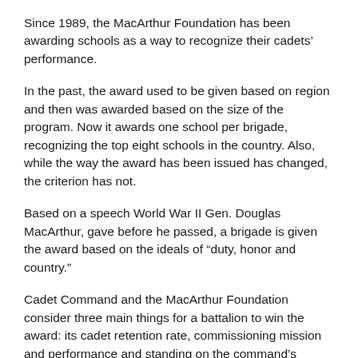Since 1989, the MacArthur Foundation has been awarding schools as a way to recognize their cadets' performance.
In the past, the award used to be given based on region and then was awarded based on the size of the program. Now it awards one school per brigade, recognizing the top eight schools in the country. Also, while the way the award has been issued has changed, the criterion has not.
Based on a speech World War II Gen. Douglas MacArthur, gave before he passed, a brigade is given the award based on the ideals of “duty, honor and country.”
Cadet Command and the MacArthur Foundation consider three main things for a battalion to win the award: its cadet retention rate, commissioning mission and performance and standing on the command’s National Order of Merit List.